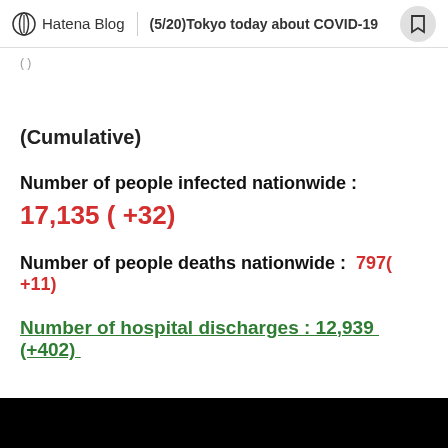Hatena Blog | (5/20)Tokyo today about COVID-19
(Cumulative)
Number of people infected nationwide :
17,135 ( +32)
Number of people deaths nationwide :  797( +11)
Number of hospital discharges : 12,939  (+402)
*( )= increse  from the day before